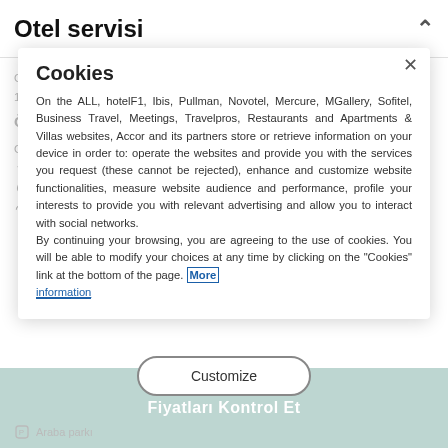Otel servisi
Otele giriş başlangıç saati: 15h00 - Otelden çıkış bitiş saati: 12h00
Özetle
Otel içi :
Restoran  Tekerlekli sandalye erişimli otel  Klima  WIFI  Kahvaltı  Bar
Aile odaları
Cookies
On the ALL, hotelF1, Ibis, Pullman, Novotel, Mercure, MGallery, Sofitel, Business Travel, Meetings, Travelpros, Restaurants and Apartments & Villas websites, Accor and its partners store or retrieve information on your device in order to: operate the websites and provide you with the services you request (these cannot be rejected), enhance and customize website functionalities, measure website audience and performance, profile your interests to provide you with relevant advertising and allow you to interact with social networks.
By continuing your browsing, you are agreeing to the use of cookies. You will be able to modify your choices at any time by clicking on the "Cookies" link at the bottom of the page. More information
Customize
Fiyatları Kontrol Et
Araba parkı